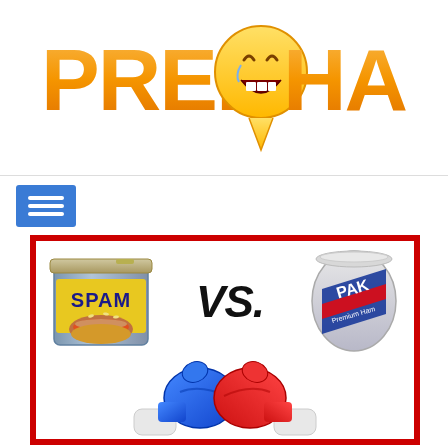[Figure (logo): PrepHappy logo with orange stylized bold text 'PREP' and 'HAPPY' with a laughing emoji face in place of the 'O', on a white background]
[Figure (illustration): Blue hamburger menu navigation button with three white horizontal lines on blue square background]
[Figure (illustration): Battle image with red border showing SPAM can vs PAK Premium Ham can with large bold italic 'VS.' text in the middle, and a blue boxing glove and red boxing glove bumping together at the bottom]